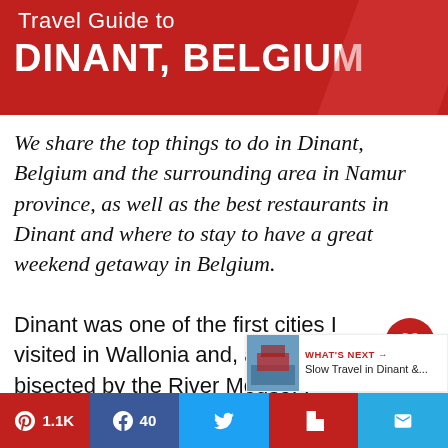Travel Guide to DINANT, BELGIUM
We share the top things to do in Dinant, Belgium and the surrounding area in Namur province, as well as the best restaurants in Dinant and where to stay to have a great weekend getaway in Belgium.
Dinant was one of the first cities I visited in Wallonia and, as it is bisected by the River Meuse, I couldn't help but compare it to the towns and villages along the Rhine River in